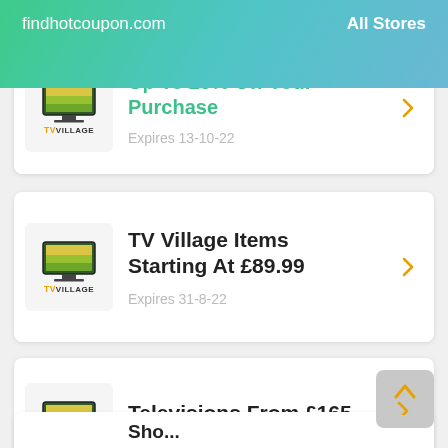findhotcoupon.com   All Stores
[Figure (screenshot): TV Village logo with TV icon and 'TVVILLAGE' text]
Up To 20% Off Your Purchase
Expires 13-10-22
[Figure (screenshot): TV Village logo with TV icon and 'TVVILLAGE' text]
TV Village Items Starting At £89.99
Expires 31-8-22
[Figure (screenshot): TV Village logo with TV icon and 'TVVILLAGE' text]
Televisions From £165
Expires 10-9-22